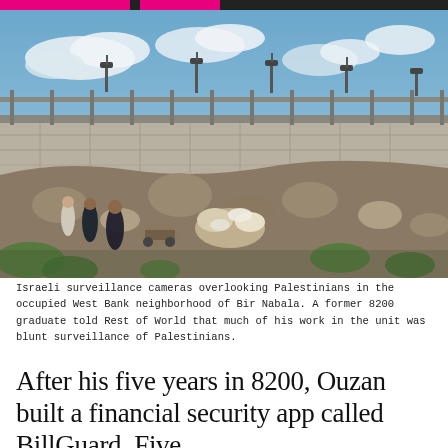[Figure (photo): Outdoor photograph showing a tall security/surveillance fence wall with cameras on top, running along a hillside in the occupied West Bank. In the foreground, several Palestinians walk along a rocky, rubble-strewn hillside with sparse green vegetation. The sky is partly cloudy and blue.]
Israeli surveillance cameras overlooking Palestinians in the occupied West Bank neighborhood of Bir Nabala. A former 8200 graduate told Rest of World that much of his work in the unit was blunt surveillance of Palestinians.
After his five years in 8200, Ouzan built a financial security app called BillGuard. Five